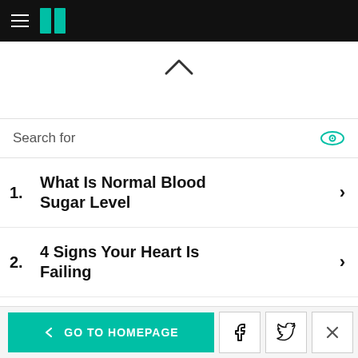HuffPost navigation bar with hamburger menu and logo
^
Search for
1. What Is Normal Blood Sugar Level >
2. 4 Signs Your Heart Is Failing >
3. Best Vitamins For Memory >
Ad | Local
< GO TO HOMEPAGE  [Facebook] [Twitter] [X]